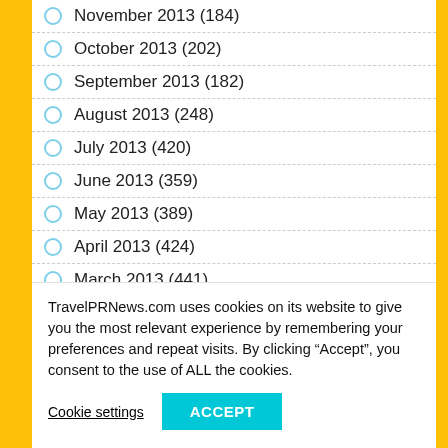November 2013 (184)
October 2013 (202)
September 2013 (182)
August 2013 (248)
July 2013 (420)
June 2013 (359)
May 2013 (389)
April 2013 (424)
March 2013 (441)
TravelPRNews.com uses cookies on its website to give you the most relevant experience by remembering your preferences and repeat visits. By clicking “Accept”, you consent to the use of ALL the cookies.
Cookie settings
ACCEPT